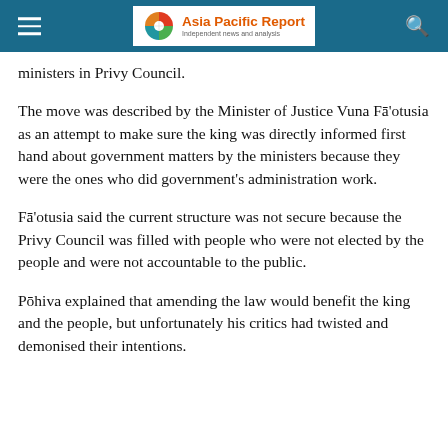Asia Pacific Report — Independent news and analysis
ministers in Privy Council.
The move was described by the Minister of Justice Vuna Fā'otusia as an attempt to make sure the king was directly informed first hand about government matters by the ministers because they were the ones who did government's administration work.
Fā'otusia said the current structure was not secure because the Privy Council was filled with people who were not elected by the people and were not accountable to the public.
Pōhiva explained that amending the law would benefit the king and the people, but unfortunately his critics had twisted and demonised their intentions.